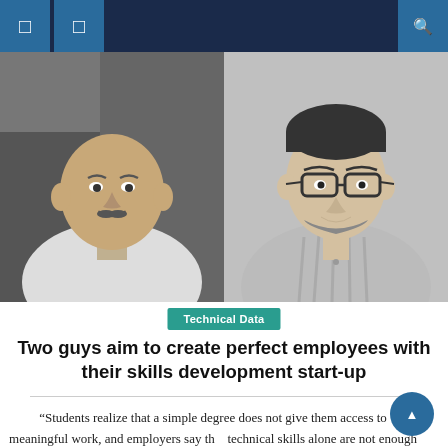Technical Data — news website header with navigation icons
[Figure (photo): Two black-and-white portrait photos side by side: left photo shows a bald man with a mustache wearing a white t-shirt; right photo shows a young man with glasses and a beard wearing a striped shirt.]
Technical Data
Two guys aim to create perfect employees with their skills development start-up
“Students realize that a simple degree does not give them access to meaningful work, and employers say that technical skills alone are not enough for a job,” said Samyak